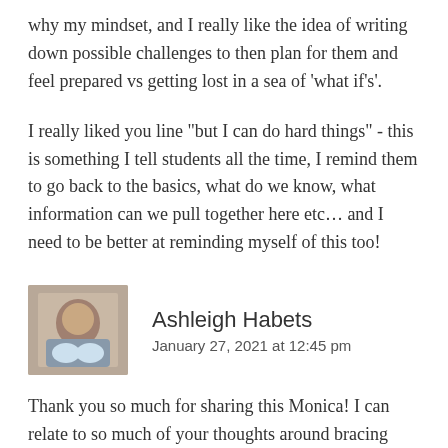why my mindset, and I really like the idea of writing down possible challenges to then plan for them and feel prepared vs getting lost in a sea of 'what if's'.
I really liked you line "but I can do hard things" - this is something I tell students all the time, I remind them to go back to the basics, what do we know, what information can we pull together here etc… and I need to be better at reminding myself of this too!
Ashleigh Habets
January 27, 2021 at 12:45 pm
Thank you so much for sharing this Monica! I can relate to so much of your thoughts around bracing yourself for online teaching and missing authentic in person relationships and